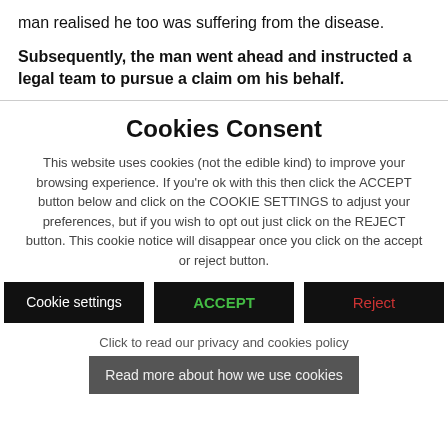man realised he too was suffering from the disease.
Subsequently, the man went ahead and instructed a legal team to pursue a claim om his behalf.
Cookies Consent
This website uses cookies (not the edible kind) to improve your browsing experience. If you're ok with this then click the ACCEPT button below and click on the COOKIE SETTINGS to adjust your preferences, but if you wish to opt out just click on the REJECT button. This cookie notice will disappear once you click on the accept or reject button.
Cookie settings | ACCEPT | Reject
Click to read our privacy and cookies policy
Read more about how we use cookies